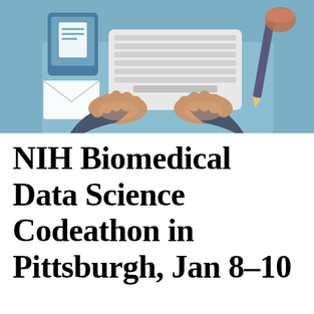[Figure (illustration): Flat design illustration showing two hands typing on a laptop keyboard from a top-down view. The desk has a tablet with document icon, an envelope, a pencil, and a coffee cup visible in the upper right. Color scheme is blue-gray and tan/brown skin tones.]
NIH Biomedical Data Science Codeathon in Pittsburgh, Jan 8–10